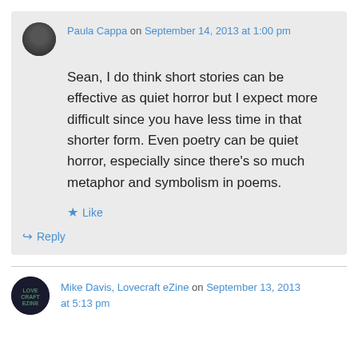Paula Cappa on September 14, 2013 at 1:00 pm
Sean, I do think short stories can be effective as quiet horror but I expect more difficult since you have less time in that shorter form. Even poetry can be quiet horror, especially since there’s so much metaphor and symbolism in poems.
Like
Reply
Mike Davis, Lovecraft eZine on September 13, 2013 at 5:13 pm